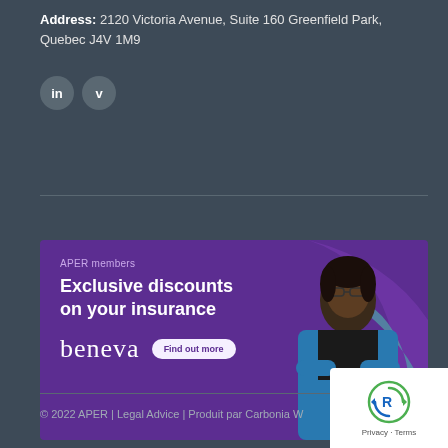Address: 2120 Victoria Avenue, Suite 160 Greenfield Park, Quebec J4V 1M9
[Figure (illustration): Social media icons: LinkedIn (in) and Vimeo (v) as circular grey buttons]
[Figure (infographic): Beneva insurance advertisement banner with purple background, woman in blue blazer, text 'APER members Exclusive discounts on your insurance beneva' and 'Find out more' button]
© 2022 APER | Legal Advice | Produit par Carbonia W...
[Figure (logo): Google reCAPTCHA privacy badge with circular arrow logo and 'Privacy - Terms' text]